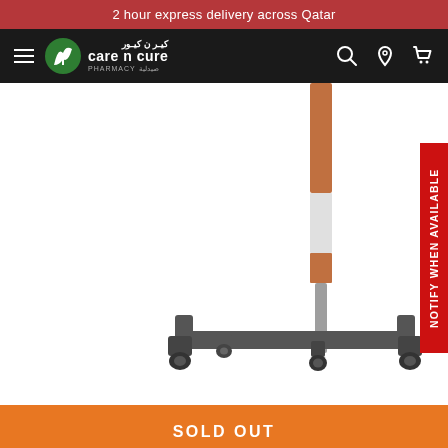2 hour express delivery across Qatar
[Figure (logo): Care n Cure Pharmacy logo with green leaf icon and Arabic text كير ن كيور]
[Figure (photo): Medical overbed table base/trolley with wheels on white background - shows the bottom portion with grey T-shaped frame and four caster wheels, with brown and white adjustable column]
NOTIFY WHEN AVAILABLE
SOLD OUT